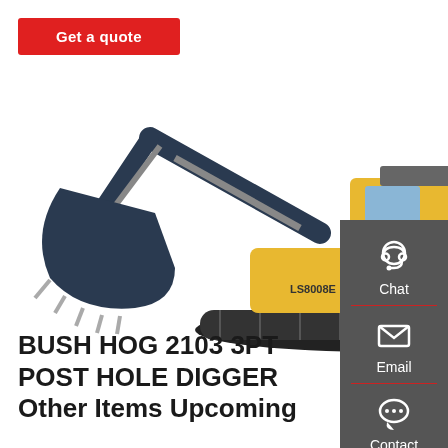Get a quote
[Figure (photo): Large yellow and dark blue/black mining excavator or hydraulic shovel on tracks, facing left, with a large bucket attachment and enclosed cab, on a white background.]
BUSH HOG 2103 3PT POST HOLE DIGGER Other Items Upcoming